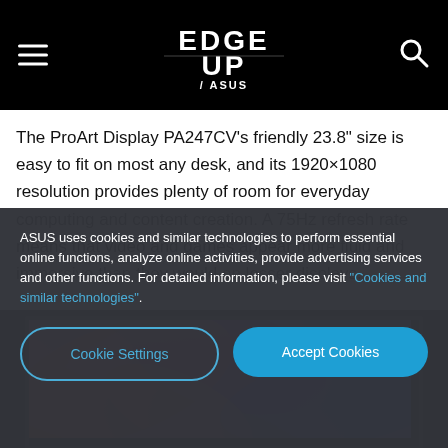EDGE UP / ASUS
The ProArt Display PA247CV's friendly 23.8" size is easy to fit on most any desk, and its 1920×1080 resolution provides plenty of room for everyday computing and content creation. A 75Hz refresh rate means that video and games appear more fluid and immersive than they would on lesser displays.
[Figure (photo): ASUS ProArt Display PA247CV monitor showing colorful swirling wallpaper in pink, orange, purple, and blue tones]
ASUS uses cookies and similar technologies to perform essential online functions, analyze online activities, provide advertising services and other functions. For detailed information, please visit "Cookies and similar technologies".
Cookie Settings | Accept Cookies